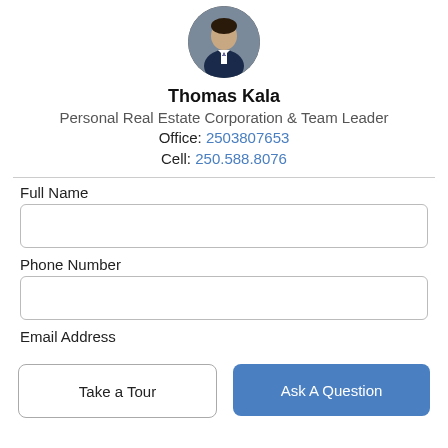[Figure (photo): Circular profile photo of Thomas Kala, a man in a dark suit]
Thomas Kala
Personal Real Estate Corporation & Team Leader
Office: 2503807653
Cell: 250.588.8076
Full Name
Phone Number
Email Address
Take a Tour
Ask A Question